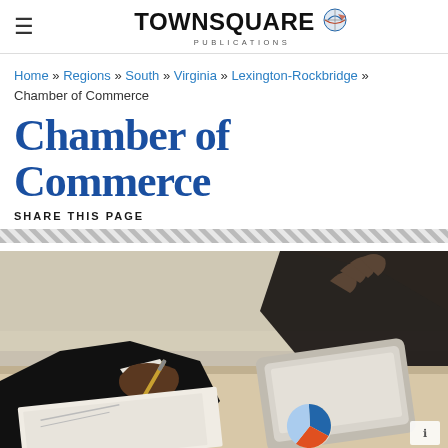TOWNSQUARE PUBLICATIONS
Home » Regions » South » Virginia » Lexington-Rockbridge » Chamber of Commerce
Chamber of Commerce
SHARE THIS PAGE
[Figure (photo): Two business people at a desk, one writing with a pen and the other gesturing, with documents and a tablet on the table]